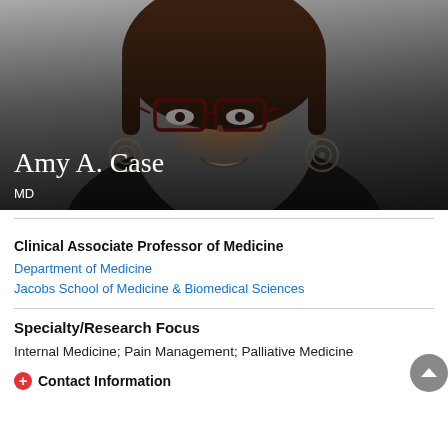[Figure (photo): Professional headshot of Amy A. Case, a woman with glasses and circular earrings, smiling, with name and credentials overlaid at bottom left on dark gradient]
Amy A. Case
MD
Clinical Associate Professor of Medicine
Department of Medicine
Jacobs School of Medicine & Biomedical Sciences
Specialty/Research Focus
Internal Medicine; Pain Management; Palliative Medicine
Contact Information